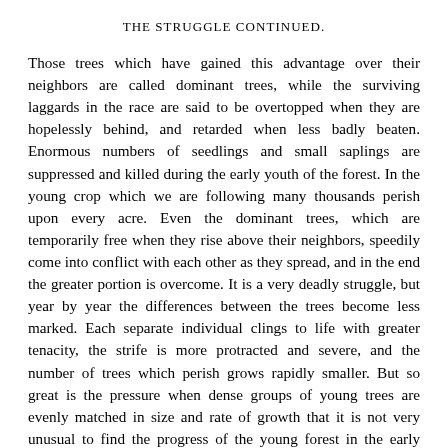THE STRUGGLE CONTINUED.
Those trees which have gained this advantage over their neighbors are called dominant trees, while the surviving laggards in the race are said to be overtopped when they are hopelessly behind, and retarded when less badly beaten. Enormous numbers of seedlings and small saplings are suppressed and killed during the early youth of the forest. In the young crop which we are following many thousands perish upon every acre. Even the dominant trees, which are temporarily free when they rise above their neighbors, speedily come into conflict with each other as they spread, and in the end the greater portion is overcome. It is a very deadly struggle, but year by year the differences between the trees become less marked. Each separate individual clings to life with greater tenacity, the strife is more protracted and severe, and the number of trees which perish grows rapidly smaller. But so great is the pressure when dense groups of young trees are evenly matched in size and rate of growth that it is not very unusual to find the progress of the young forest in the early stages almost stopped, and the trees uniformly sickly and undersized, on account of the crowding.
The forest we have been following has now passed through the small-sapling stage, and is composed chiefly, but not exclusively, of large saplings. Among the overtopped and retarded trees, which often remain in size classes which the dominant trees have long